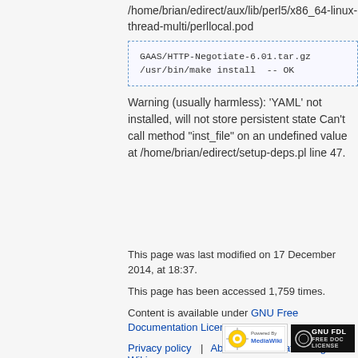/home/brian/edirect/aux/lib/perl5/x86_64-linux-thread-multi/perllocal.pod
GAAS/HTTP-Negotiate-6.01.tar.gz
/usr/bin/make install  -- OK
Warning (usually harmless): 'YAML' not installed, will not store persistent state Can't call method "inst_file" on an undefined value at /home/brian/edirect/setup-deps.pl line 47.
This page was last modified on 17 December 2014, at 18:37.
This page has been accessed 1,759 times.
Content is available under GNU Free Documentation License 1.3.
Privacy policy   About Bioinformatics.Org Wiki
Disclaimers